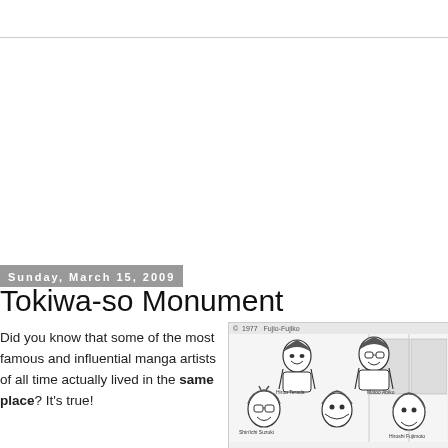Sunday, March 15, 2009
Tokiwa-so Monument
Did you know that some of the most famous and influential manga artists of all time actually lived in the same place? It's true!
[Figure (illustration): Black and white manga-style illustration showing a group of young men, labeled with names: Hiroo Terada, Motoo Abiko, Shin'ichi Suzuki, Hiroshi Fujimoto. Copyright 1977 Fujio-Fujiko.]